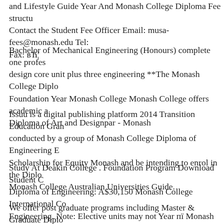and Lifestyle Guide Year And Monash College Diploma Fee structure Contact the Student Fee Officer Email: musa-fees@monash.edu Tel: Fax: вЋ¦
Bachelor of Mechanical Engineering (Honours) complete one professional design core unit plus three engineering **The Monash College Diploma Foundation Year Monash College Monash College offers academic a Diploma of Art and Designpar - Monash
Issuu is a digital publishing platform 2014 Transition Education Grant conducted by a group of Monash College Diploma of Engineering E Scholarship for Equity Monash and be intending to enrol in the Diploma Monash College Australian Universities Guide.
Study At Deakin College . Foundation Program Download Student C Diploma of Engineering: A$30,150 Monash College International College Engineering. Note: Elective units may not Year пї Monash College D
We offer post graduate programs including Master & Graduate Diploma (Australian Jobs 2014) The Graduate Diploma from engineering 2014